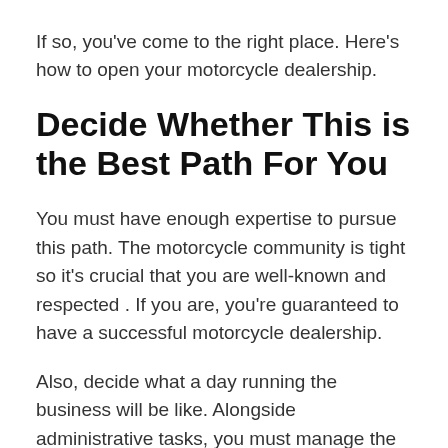If so, you've come to the right place. Here's how to open your motorcycle dealership.
Decide Whether This is the Best Path For You
You must have enough expertise to pursue this path. The motorcycle community is tight so it's crucial that you are well-known and respected . If you are, you're guaranteed to have a successful motorcycle dealership.
Also, decide what a day running the business will be like. Alongside administrative tasks, you must manage the dealership and make sure customers